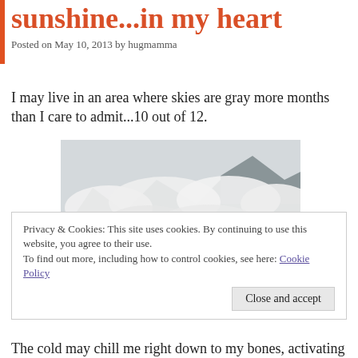sunshine...in my heart
Posted on May 10, 2013 by hugmamma
I may live in an area where skies are gray more months than I care to admit...10 out of 12.
[Figure (photo): Mountain landscape with low clouds and mist obscuring rocky peaks, evergreen trees (conifers) in the foreground, overcast gray sky]
Privacy & Cookies: This site uses cookies. By continuing to use this website, you agree to their use.
To find out more, including how to control cookies, see here: Cookie Policy
The cold may chill me right down to my bones, activating